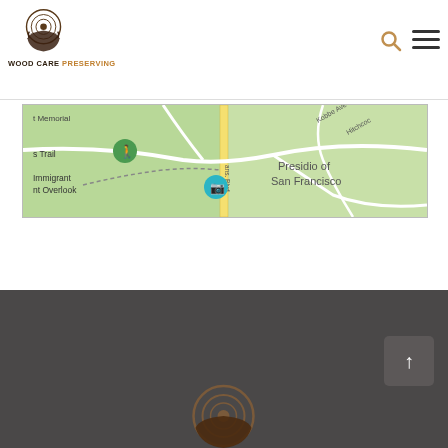[Figure (logo): Wood Care Preserving logo: tree ring / hand icon above text 'WOOD CARE PRESERVING']
[Figure (map): Google Maps screenshot showing Presidio of San Francisco area with Immigrant Overlook, Veterans Trail, Kobbe Ave, Hitchcock, ans. Blvd labels]
[Figure (other): Dark gray footer bar with scroll-to-top arrow button and partial Wood Care Preserving logo at bottom]